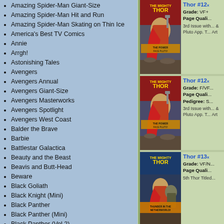Amazing Spider-Man Giant-Size
Amazing Spider-Man Hit and Run
Amazing Spider-Man Skating on Thin Ice
America's Best TV Comics
Annie
Arrgh!
Astonishing Tales
Avengers
Avengers Annual
Avengers Giant-Size
Avengers Masterworks
Avengers Spotlight
Avengers West Coast
Balder the Brave
Barbie
Battlestar Galactica
Beauty and the Beast
Beavis and Butt-Head
Beware
Black Goliath
Black Knight (Mini)
Black Panther
Black Panther (Mini)
Black Panther (Vol 2)
Black Panther: Panther's Prey
Blade Runner
Cable
Cable Blood and Metal
Cadillacs and Dinosaurs
[Figure (illustration): Cover of Thor #12x, The Mighty Thor comic, showing Thor fighting, 'The Power Face Pluto!' text visible]
Thor #12x
Grade: VF+
Page Quali...
3rd Issue with... & Pluto App. T... Art
[Figure (illustration): Cover of Thor #12x (second entry), The Mighty Thor comic, showing Thor fighting, 'The Power Face Pluto!' text visible]
Thor #12x
Grade: F/VF...
Page Quali...
Pedigree: S...
3rd Issue with... & Pluto App. T... Art
[Figure (illustration): Cover of Thor #13x, Thunder in the Netherworld comic cover]
Thor #13x
Grade: VF/N...
Page Quali...
5th Thor Titled...